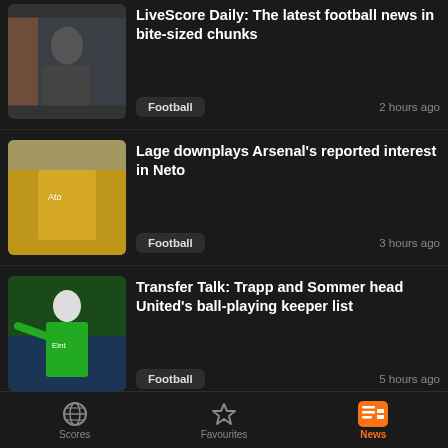LiveScore Daily: The latest football news in bite-sized chunks - Football - 2 hours ago
Lage downplays Arsenal's reported interest in Neto - Football - 3 hours ago
Transfer Talk: Trapp and Sommer head United's ball-playing keeper list - Football - 5 hours ago
Fofana training with Leicester youngsters as Foxes reject another Chelsea bid - Football - 6 hours ago
Haaland cites 'insanely good' Benzema as inspiration as he looks to evolve
Scores   Favourites   News